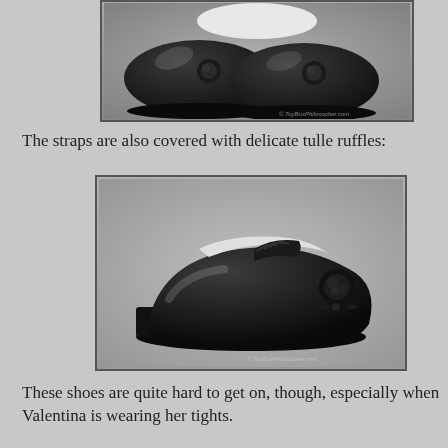[Figure (photo): Close-up photo of black patent leather children's shoes with dark fabric rose decorations on the toe, viewed from above/front. White ruffle lining visible. Watermark: ToyBoxPhilosopher.com]
The straps are also covered with delicate tulle ruffles:
[Figure (photo): Side profile photo of a black patent leather children's Mary Jane shoe with a dark fabric rose on the toe and a ruffle-covered strap. White interior lining visible. Gray background. Watermark: ToyBoxPhilosopher.com]
These shoes are quite hard to get on, though, especially when Valentina is wearing her tights.